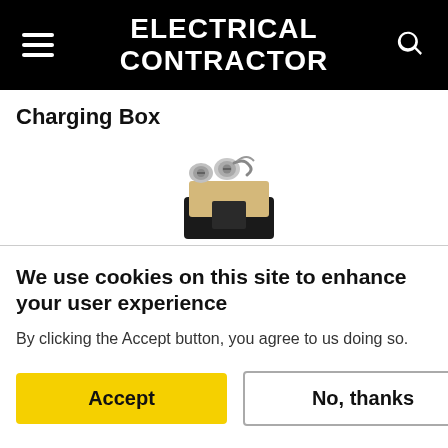ELECTRICAL CONTRACTOR
Charging Box
[Figure (photo): Close-up photo of an electrical outlet or charging box component, showing metallic screw terminals on a beige/tan plastic body with a black insert.]
We use cookies on this site to enhance your user experience
By clicking the Accept button, you agree to us doing so.
Accept
No, thanks